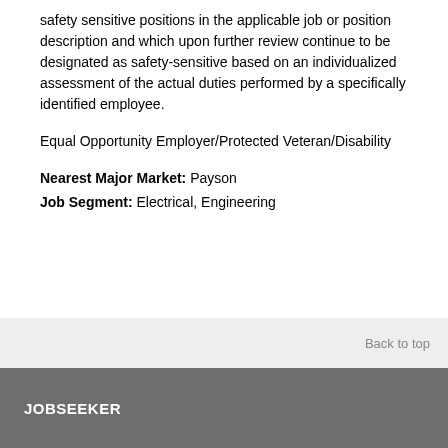safety sensitive positions in the applicable job or position description and which upon further review continue to be designated as safety-sensitive based on an individualized assessment of the actual duties performed by a specifically identified employee.
Equal Opportunity Employer/Protected Veteran/Disability
Nearest Major Market: Payson
Job Segment: Electrical, Engineering
Back to top
JOBSEEKER